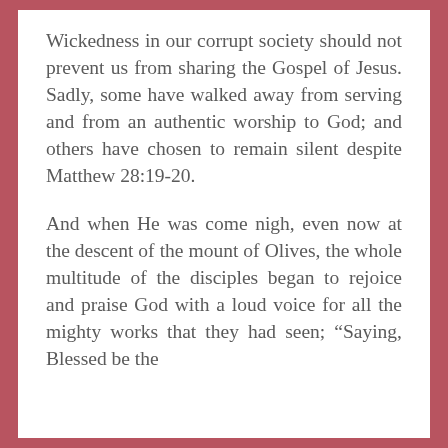Wickedness in our corrupt society should not prevent us from sharing the Gospel of Jesus. Sadly, some have walked away from serving and from an authentic worship to God; and others have chosen to remain silent despite Matthew 28:19-20.
And when He was come nigh, even now at the descent of the mount of Olives, the whole multitude of the disciples began to rejoice and praise God with a loud voice for all the mighty works that they had seen; “Saying, Blessed be the